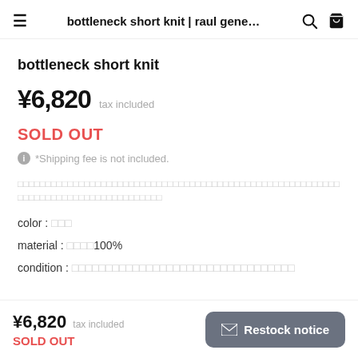bottleneck short knit | raul gene…
bottleneck short knit
¥6,820  tax included
SOLD OUT
*Shipping fee is not included.
□□□□□□□□□□□□□□□□□□□□□□□□□□□□□□□□□□□□□□□□□□□□□□□□□□□□□□□□□□□□□□□□□□□□□□□□□□□□□□□□□□□□
color : □□□
material : □□□□100%
condition : □□□□□□□□□□□□□□□□□□□□□□□□□□□□□□□□□
¥6,820  tax included  SOLD OUT  Restock notice